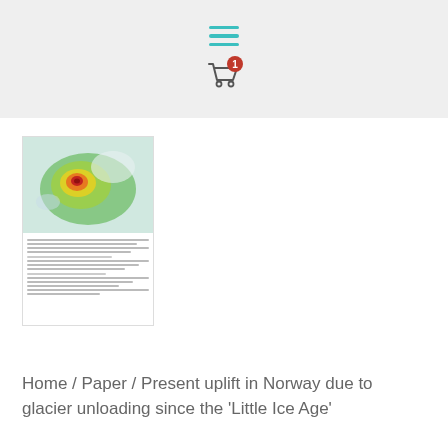[Navigation header with hamburger menu and shopping cart with badge 1]
[Figure (screenshot): Thumbnail preview of a scientific paper showing a map with heat-map style coloring (green, yellow, orange, red) overlaid on what appears to be a geographic region, with text content below the map image.]
Home / Paper / Present uplift in Norway due to glacier unloading since the 'Little Ice Age'
Present uplift in